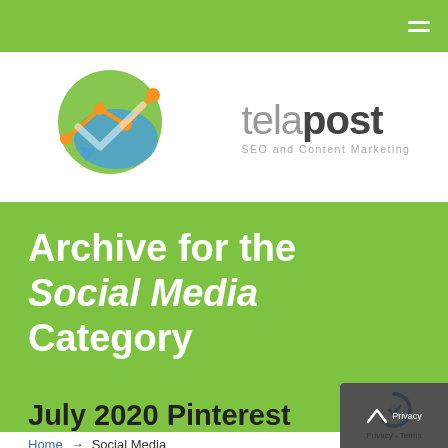[Figure (logo): Telapost logo: green circle with orange and blue analytics chart lines, text 'telapost SEO and Content Marketing']
Archive for the Social Media Category
Home → Social Media
July 2020 Pinterest